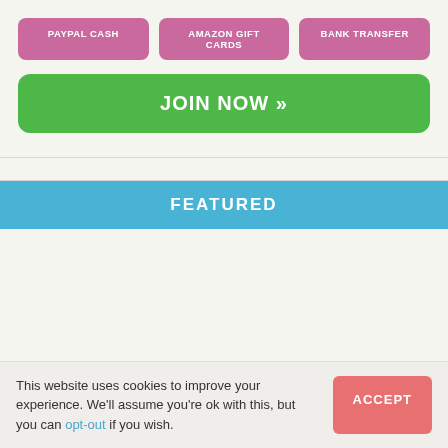PAYPAL CASH
AMAZON GIFT CARDS
BANK TRANSFER
JOIN NOW »
FEATURED
This website uses cookies to improve your experience. We'll assume you're ok with this, but you can opt-out if you wish.
ACCEPT